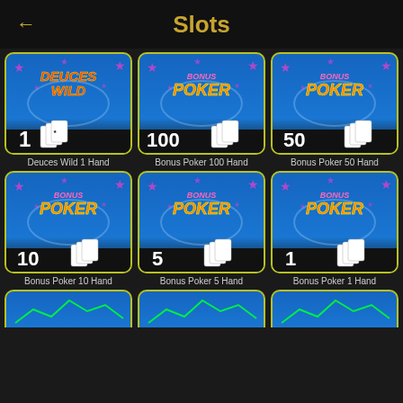Slots
[Figure (screenshot): Deuces Wild 1 Hand game thumbnail - blue background with stars, Deuces Wild logo, number 1 with playing cards]
Deuces Wild 1 Hand
[Figure (screenshot): Bonus Poker 100 Hand game thumbnail - blue background with stars, Bonus Poker logo, number 100 with playing cards]
Bonus Poker 100 Hand
[Figure (screenshot): Bonus Poker 50 Hand game thumbnail - blue background with stars, Bonus Poker logo, number 50 with playing cards]
Bonus Poker 50 Hand
[Figure (screenshot): Bonus Poker 10 Hand game thumbnail - blue background with stars, Bonus Poker logo, number 10 with playing cards]
Bonus Poker 10 Hand
[Figure (screenshot): Bonus Poker 5 Hand game thumbnail - blue background with stars, Bonus Poker logo, number 5 with playing cards]
Bonus Poker 5 Hand
[Figure (screenshot): Bonus Poker 1 Hand game thumbnail - blue background with stars, Bonus Poker logo, number 1 with playing cards]
Bonus Poker 1 Hand